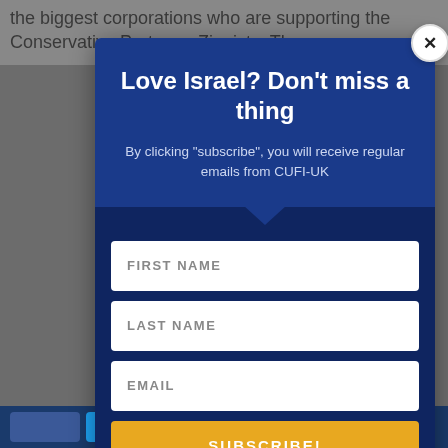the biggest corporations who are supporting the Conservative Party are Zionists. They are
[Figure (screenshot): A subscription modal popup overlay on a news article page for CUFI-UK, featuring title 'Love Israel? Don't miss a thing', subtitle text, form fields for first name, last name, email, and a subscribe button.]
SHARES